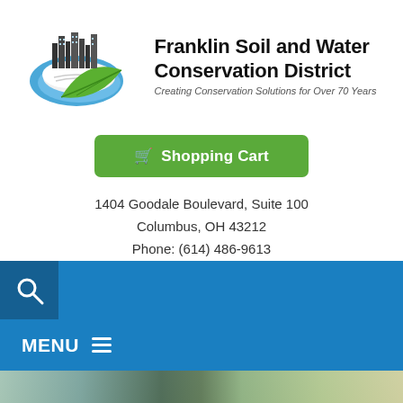[Figure (logo): Franklin Soil and Water Conservation District logo with city skyline, river, and green leaf graphic]
Franklin Soil and Water Conservation District
Creating Conservation Solutions for Over 70 Years
Shopping Cart
1404 Goodale Boulevard, Suite 100
Columbus, OH 43212
Phone: (614) 486-9613
Fax: (614) 486-9614
[Figure (infographic): Blue navigation bar with search icon and MENU hamburger icon]